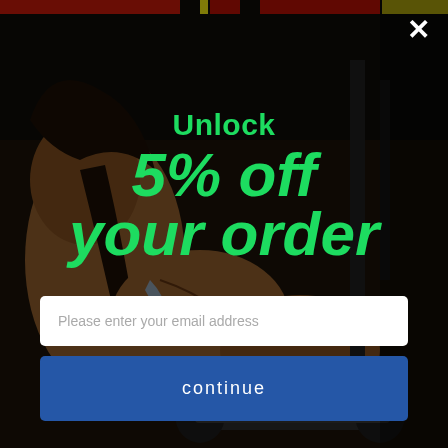[Figure (photo): A muscular woman lifting dumbbells in a dark gym setting, shown in close-up from the side, straining with effort. Dark background with gym equipment visible.]
×
Unlock
5% off your order
Please enter your email address
continue